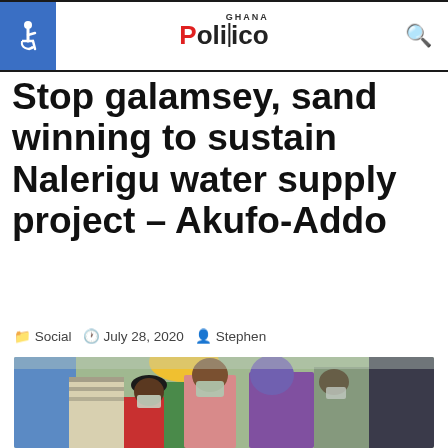Ghana Politico — navigation header with accessibility icon and search
Stop galamsey, sand winning to sustain Nalerigu water supply project – Akufo-Addo
Social  July 28, 2020  Stephen
[Figure (photo): Crowd of people wearing face masks outdoors, including a man in a pink shirt with a surgical mask and a woman in a purple headscarf; yellow and red clothing items visible in background]